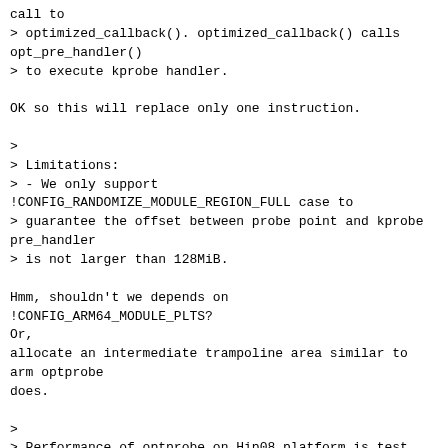call to
> optimized_callback(). optimized_callback() calls opt_pre_handler()
> to execute kprobe handler.

OK so this will replace only one instruction.

>
> Limitations:
> - We only support
!CONFIG_RANDOMIZE_MODULE_REGION_FULL case to
> guarantee the offset between probe point and kprobe pre_handler
> is not larger than 128MiB.

Hmm, shouldn't we depends on !CONFIG_ARM64_MODULE_PLTS?
Or,
allocate an intermediate trampoline area similar to arm optprobe
does.

>
> Performance of optprobe on Hip08 platform is test using kprobe
> example module[1] to analyze the latency of a kernel function,
> and here is the result:
>
> [1]
https://git.kernel.org/pub/scm/linux/kernel/git/torvalds